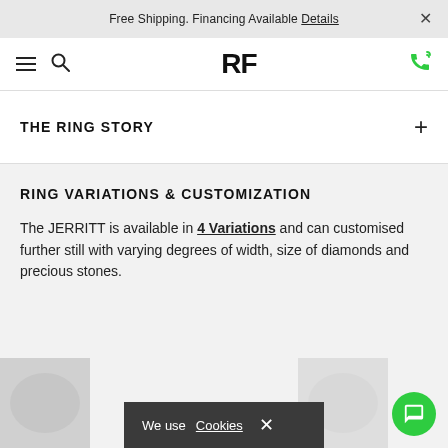Free Shipping. Financing Available Details ×
[Figure (logo): RF logo with hamburger menu, search icon, and phone icon navigation bar]
THE RING STORY
RING VARIATIONS & CUSTOMIZATION
The JERRITT is available in 4 Variations and can customised further still with varying degrees of width, size of diamonds and precious stones.
We use Cookies ×